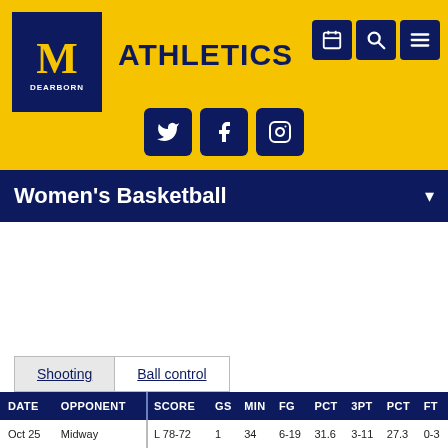[Figure (logo): University of Michigan Dearborn block M logo in navy blue and gold]
ATHLETICS
[Figure (infographic): Social media icons: Twitter, Facebook, Instagram in navy blue rounded squares]
Women's Basketball
Shooting  Ball control
| DATE | OPPONENT | SCORE | GS | MIN | FG | PCT | 3PT | PCT | FT |
| --- | --- | --- | --- | --- | --- | --- | --- | --- | --- |
| Oct 25 | Midway | L 78-72 | 1 | 34 | 6-19 | 31.6 | 3-11 | 27.3 | 0-3 |